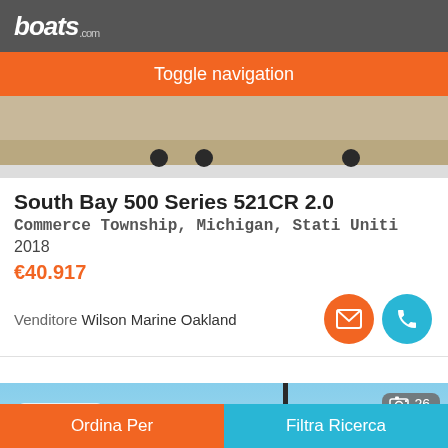boats.com
Toggle navigation
[Figure (photo): Bottom view of a boat hull on a trailer with wheels, on a concrete floor]
South Bay 500 Series 521CR 2.0
Commerce Township, Michigan, Stati Uniti
2018
€40.917
Venditore Wilson Marine Oakland
[Figure (photo): Boat or marine equipment photo with blue sky background and crane/mast structure visible, photo count badge showing 26]
Ordina Per | Filtra Ricerca